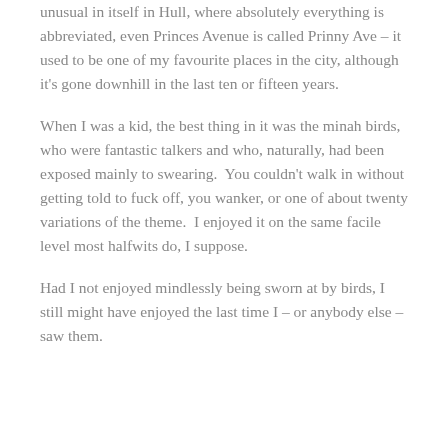unusual in itself in Hull, where absolutely everything is abbreviated, even Princes Avenue is called Prinny Ave – it used to be one of my favourite places in the city, although it's gone downhill in the last ten or fifteen years.
When I was a kid, the best thing in it was the minah birds, who were fantastic talkers and who, naturally, had been exposed mainly to swearing.  You couldn't walk in without getting told to fuck off, you wanker, or one of about twenty variations of the theme.  I enjoyed it on the same facile level most halfwits do, I suppose.
Had I not enjoyed mindlessly being sworn at by birds, I still might have enjoyed the last time I – or anybody else – saw them.